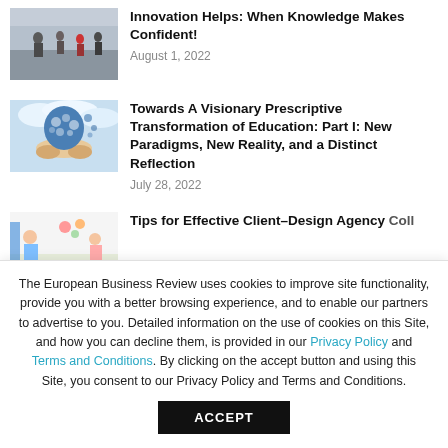[Figure (photo): Photo of people walking in a busy indoor/outdoor area, article thumbnail]
Innovation Helps: When Knowledge Makes Confident!
August 1, 2022
[Figure (photo): Illustration of a human head made of gears being held by hands, article thumbnail]
Towards A Visionary Prescriptive Transformation of Education: Part I: New Paradigms, New Reality, and a Distinct Reflection
July 28, 2022
[Figure (photo): Partial photo of children in a design/art activity, article thumbnail (cropped)]
Tips for Effective Client–Design Agency Collaboration
The European Business Review uses cookies to improve site functionality, provide you with a better browsing experience, and to enable our partners to advertise to you. Detailed information on the use of cookies on this Site, and how you can decline them, is provided in our Privacy Policy and Terms and Conditions. By clicking on the accept button and using this Site, you consent to our Privacy Policy and Terms and Conditions.